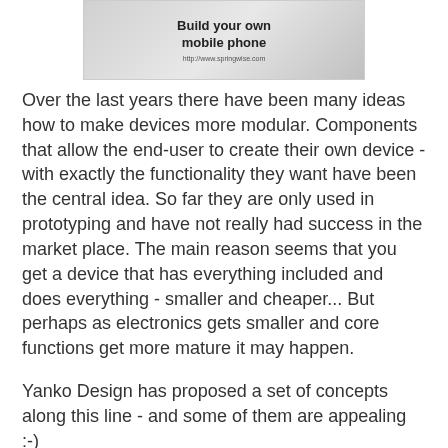[Figure (photo): Advertisement image showing modular mobile phone components with text 'Build your own mobile phone' and URL http://www.springwise.com]
Over the last years there have been many ideas how to make devices more modular. Components that allow the end-user to create their own device - with exactly the functionality they want have been the central idea. So far they are only used in prototyping and have not really had success in the market place. The main reason seems that you get a device that has everything included and does everything - smaller and cheaper... But perhaps as electronics gets smaller and core functions get more mature it may happen.
Yanko Design has proposed a set of concepts along this line - and some of them are appealing :-)
http://www.yankodesign.com/2007/12/12/chocolate-portable-hdd/
http://www.yankodesign.com/2007/11/26/blocky-mp3-player-oh-and-modular-too/
http://www.yankodesign.com/2007/08/31/it-was-a-rock-